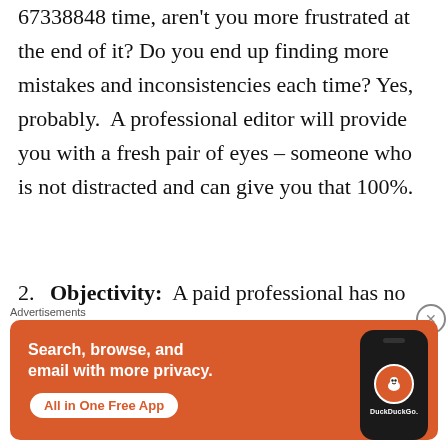67338848 time, aren't you more frustrated at the end of it? Do you end up finding more mistakes and inconsistencies each time? Yes, probably.  A professional editor will provide you with a fresh pair of eyes – someone who is not distracted and can give you that 100%.
2. Objectivity:  A paid professional has no qualms about telling you what you need to do to take your work to the next level
[Figure (screenshot): DuckDuckGo advertisement banner on orange background with text 'Search, browse, and email with more privacy. All in One Free App' and a phone mockup showing the DuckDuckGo logo.]